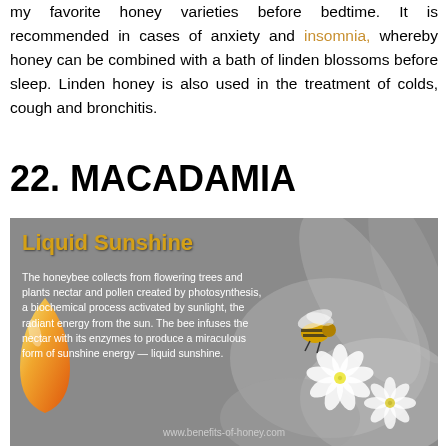my favorite honey varieties before bedtime. It is recommended in cases of anxiety and insomnia, whereby honey can be combined with a bath of linden blossoms before sleep. Linden honey is also used in the treatment of colds, cough and bronchitis.
22. MACADAMIA
[Figure (photo): Infographic image titled 'Liquid Sunshine' showing a bee on white flowers with a golden liquid drop on the left side, against a grey background. Text reads: 'The honeybee collects from flowering trees and plants nectar and pollen created by photosynthesis, a biochemical process activated by sunlight, the radiant energy from the sun. The bee infuses the nectar with its enzymes to produce a miraculous form of sunshine energy — liquid sunshine.' URL: www.benefits-of-honey.com]